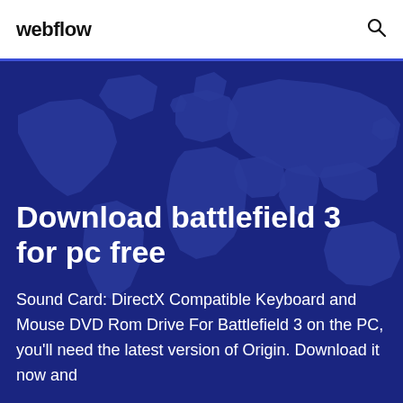webflow
[Figure (illustration): Dark blue world map silhouette on a deep blue background, serving as a hero banner background image.]
Download battlefield 3 for pc free
Sound Card: DirectX Compatible Keyboard and Mouse DVD Rom Drive For Battlefield 3 on the PC, you'll need the latest version of Origin. Download it now and